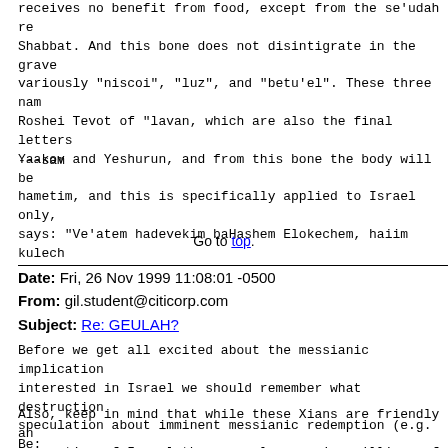receives no benefit from food, except from the se'udah re Shabbat. And this bone does not disintigrate in the grave variously "niscoi", "luz", and "betu'el". These three nam Roshei Tevot of "lavan, which are also the final letters Yaakov and Yeshurun, and from this bone the body will be hametim, and this is specifically applied to Israel only, says: "Ve'atem hadevekim baHashem Elokechem, haiim kulech
---sam
Go to top.
Date: Fri, 26 Nov 1999 11:08:01 -0500
From: gil.student@citicorp.com
Subject: Re: GEULAH?
Before we get all excited about the messianic implication interested in Israel we should remember what destruction speculation about imminent messianic redemption (e.g. Be:
Also, keep in mind that while these Xians are friendly an supportive of Israel they are also pouring millions of d